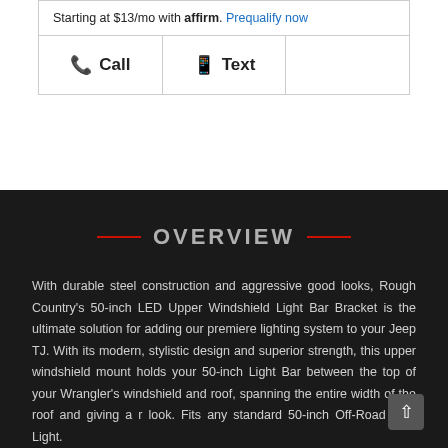Starting at $13/mo with affirm. Prequalify now
| 📞 Call | 📱 Text |  |
OVERVIEW
With durable steel construction and aggressive good looks, Rough Country's 50-inch LED Upper Windshield Light Bar Bracket is the ultimate solution for adding our premiere lighting system to your Jeep TJ. With its modern, stylistic design and superior strength, this upper windshield mount holds your 50-inch Light Bar between the top of your Wrangler's windshield and roof, spanning the entire width of the roof and giving a r look. Fits any standard 50-inch Off-Road LED Light.